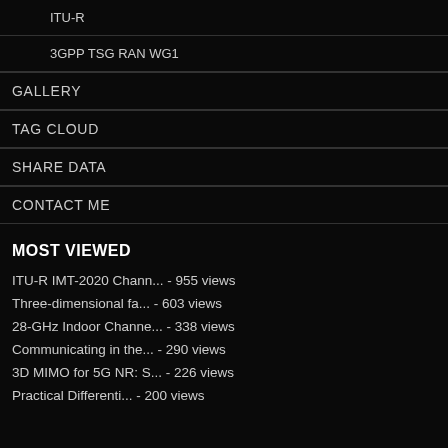ITU-R
3GPP TSG RAN WG1
GALLERY
TAG CLOUD
SHARE DATA
CONTACT ME
MOST VIEWED
ITU-R IMT-2020 Chann... - 955 views
Three-dimensional fa... - 603 views
28-GHz Indoor Channe... - 338 views
Communicating in the... - 290 views
3D MIMO for 5G NR: S... - 226 views
Practical Differenti... - 200 views